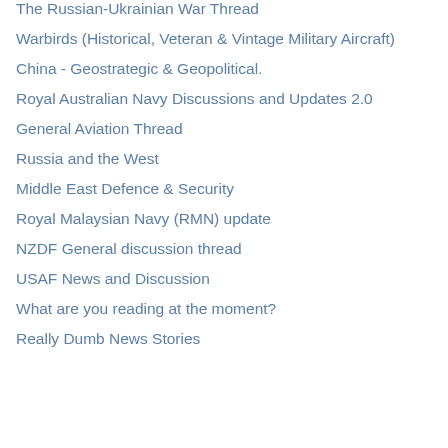The Russian-Ukrainian War Thread
Warbirds (Historical, Veteran & Vintage Military Aircraft)
China - Geostrategic & Geopolitical.
Royal Australian Navy Discussions and Updates 2.0
General Aviation Thread
Russia and the West
Middle East Defence & Security
Royal Malaysian Navy (RMN) update
NZDF General discussion thread
USAF News and Discussion
What are you reading at the moment?
Really Dumb News Stories